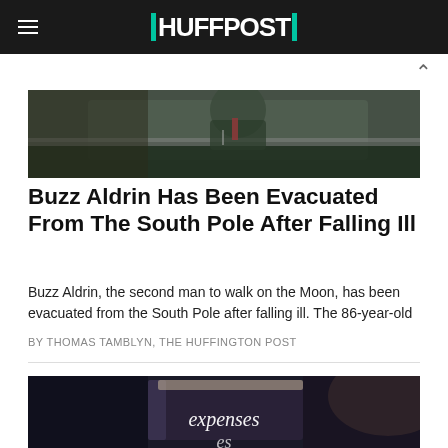HUFFPOST
[Figure (photo): Photograph of a person at what appears to be a podium or counter, blurred background]
Buzz Aldrin Has Been Evacuated From The South Pole After Falling Ill
Buzz Aldrin, the second man to walk on the Moon, has been evacuated from the South Pole after falling ill. The 86-year-old
BY THOMAS TAMBLYN, THE HUFFINGTON POST
[Figure (photo): Photograph of a dark book or folder with text 'expenses' visible]